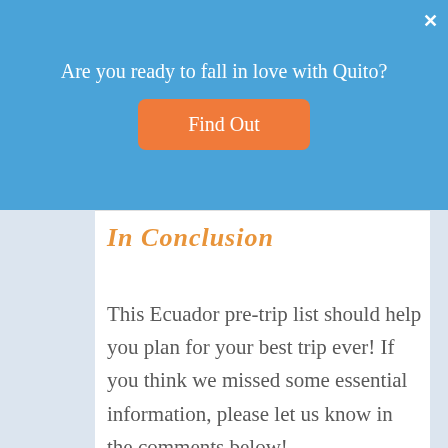Are you ready to fall in love with Quito?
Find Out
In Conclusion
This Ecuador pre-trip list should help you plan for your best trip ever! If you think we missed some essential information, please let us know in the comments below!
SHARE: